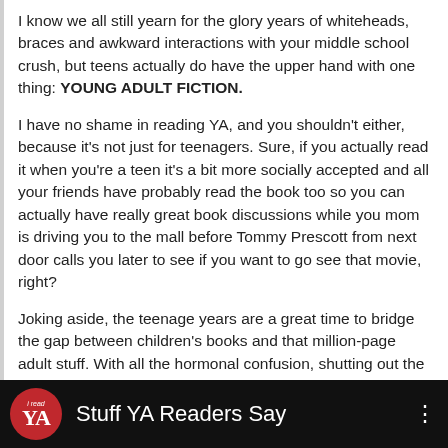I know we all still yearn for the glory years of whiteheads, braces and awkward interactions with your middle school crush, but teens actually do have the upper hand with one thing: YOUNG ADULT FICTION.
I have no shame in reading YA, and you shouldn't either, because it's not just for teenagers. Sure, if you actually read it when you're a teen it's a bit more socially accepted and all your friends have probably read the book too so you can actually have really great book discussions while you mom is driving you to the mall before Tommy Prescott from next door calls you later to see if you want to go see that movie, right?
Joking aside, the teenage years are a great time to bridge the gap between children's books and that million-page adult stuff. With all the hormonal confusion, shutting out the rest of the world with a good book could be just want adolescents need to avoid some of the stress of growing up (or – if you're like so many of us out there – already being grown up).
[Figure (screenshot): Video thumbnail with dark background showing a red circular 'I read YA' logo on the left and white text 'Stuff YA Readers Say' with a three-dot menu icon on the right.]